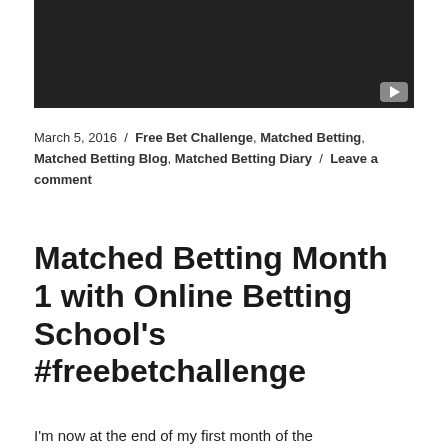[Figure (screenshot): Black video thumbnail with YouTube play button icon in bottom-right corner]
March 5, 2016 / Free Bet Challenge, Matched Betting, Matched Betting Blog, Matched Betting Diary / Leave a comment
Matched Betting Month 1 with Online Betting School's #freebetchallenge
I'm now at the end of my first month of the